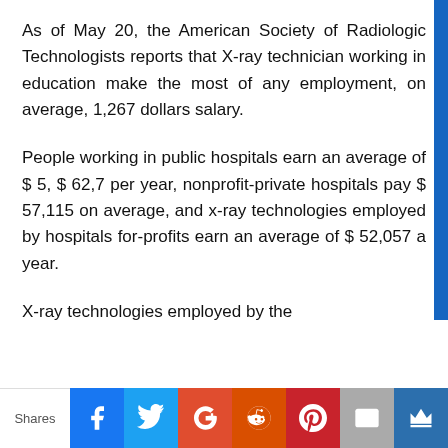As of May 20, the American Society of Radiologic Technologists reports that X-ray technician working in education make the most of any employment, on average, 1,267 dollars salary.
People working in public hospitals earn an average of $ 5, $ 62,7 per year, nonprofit-private hospitals pay $ 57,115 on average, and x-ray technologies employed by hospitals for-profits earn an average of $ 52,057 a year.
X-ray technologies employed by the